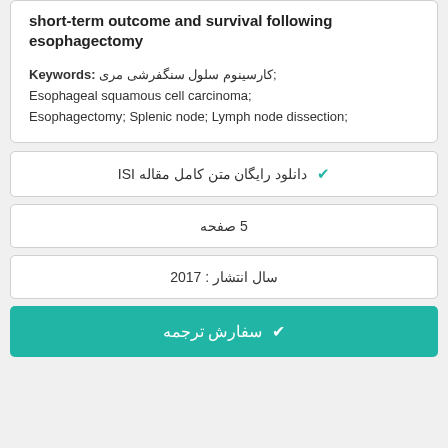short-term outcome and survival following esophagectomy
Keywords: کارسینوم سلول سنگفرشی مری; Esophageal squamous cell carcinoma; Esophagectomy; Splenic node; Lymph node dissection;
✔ دانلود رایگان متن کامل مقاله ISI
5 صفحه
سال انتشار : 2017
✔ سفارش ترجمه